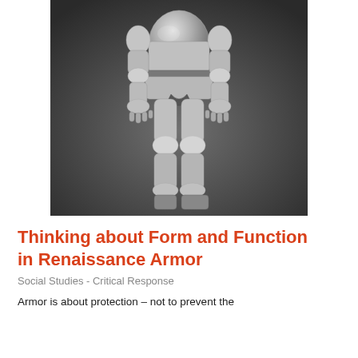[Figure (photo): Black and white photograph of a headless Renaissance armor suit displayed standing upright, showing the torso, arms, hands, legs, and feet of a full plate armor.]
Thinking about Form and Function in Renaissance Armor
Social Studies - Critical Response
Armor is about protection – not to prevent the